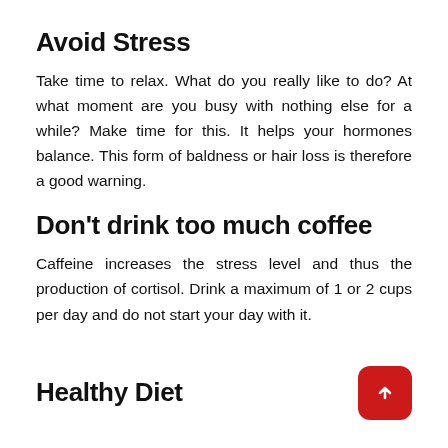Avoid Stress
Take time to relax. What do you really like to do? At what moment are you busy with nothing else for a while? Make time for this. It helps your hormones balance. This form of baldness or hair loss is therefore a good warning.
Don’t drink too much coffee
Caffeine increases the stress level and thus the production of cortisol. Drink a maximum of 1 or 2 cups per day and do not start your day with it.
Healthy Diet